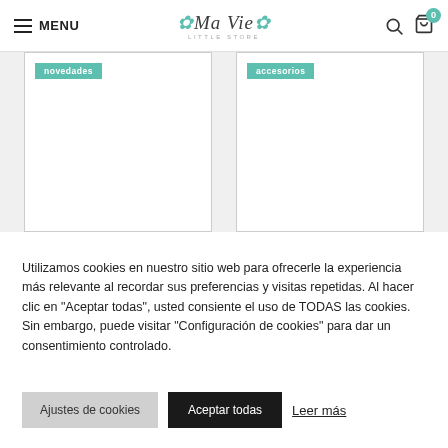MENU | Ma Vie (logo)
[Figure (screenshot): Two product card placeholders with teal 'novedades' and 'accesorios' badge labels on a light gray background with bordered cells]
Utilizamos cookies en nuestro sitio web para ofrecerle la experiencia más relevante al recordar sus preferencias y visitas repetidas. Al hacer clic en "Aceptar todas", usted consiente el uso de TODAS las cookies. Sin embargo, puede visitar "Configuración de cookies" para dar un consentimiento controlado.
Ajustes de cookies
Aceptar todas
Leer más